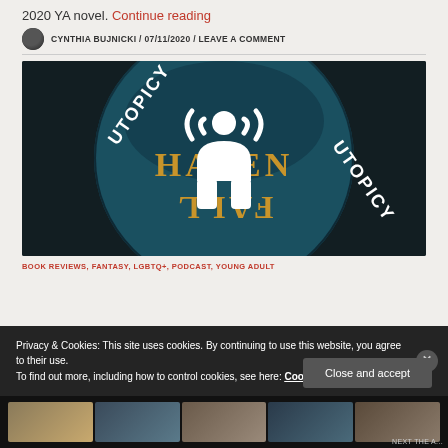2020 YA novel. Continue reading
CYNTHIA BUJNICKI / 07/11/2020 / LEAVE A COMMENT
[Figure (illustration): Circular podcast/audiobook logo with teal background showing text HAVEN FALL and UTOPICY around the edges, with a white broadcast/person icon in the center]
BOOK REVIEWS, FANTASY, LGBTQ+, PODCAST, YOUNG ADULT
Privacy & Cookies: This site uses cookies. By continuing to use this website, you agree to their use. To find out more, including how to control cookies, see here: Cookie Policy
Close and accept